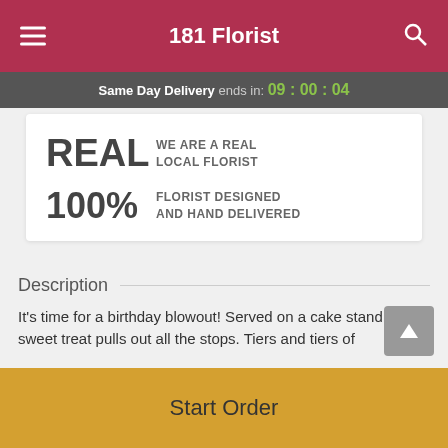181 Florist
Same Day Delivery ends in: 09 : 00 : 04
REAL WE ARE A REAL LOCAL FLORIST
100% FLORIST DESIGNED AND HAND DELIVERED
Description
It's time for a birthday blowout! Served on a cake stand, this sweet treat pulls out all the stops. Tiers and tiers of
Start Order